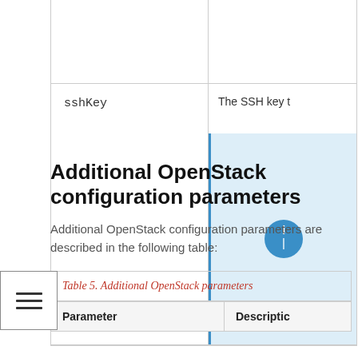| Parameter | Description |
| --- | --- |
|  |  |
| sshKey | The SSH key t... |
Additional OpenStack configuration parameters
Additional OpenStack configuration parameters are described in the following table:
| Parameter | Description |
| --- | --- |